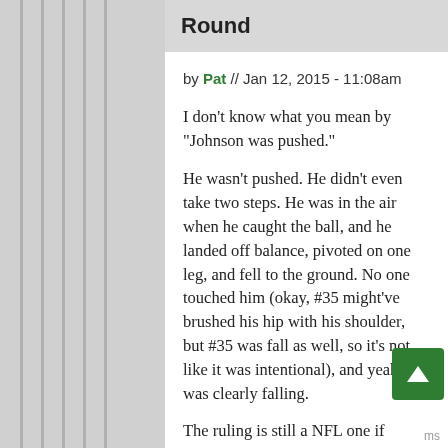Round
by Pat // Jan 12, 2015 - 11:08am
I don't know what you mean by "Johnson was pushed."
He wasn't pushed. He didn't even take two steps. He was in the air when he caught the ball, and he landed off balance, pivoted on one leg, and fell to the ground. No one touched him (okay, #35 might've brushed his hip with his shoulder, but #35 was fall as well, so it's not like it was intentional), and yeah, he was clearly falling.
The ruling is still a NFL one if